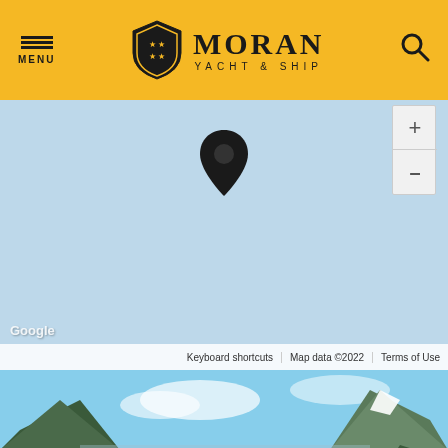[Figure (screenshot): Moran Yacht & Ship website header with golden/yellow background, hamburger menu icon on left, Moran Yacht & Ship logo in center, search icon on right]
[Figure (map): Google Maps embed showing a light blue map with a location pin marker in the center, zoom controls on the right side. Google watermark and map attribution (Keyboard shortcuts, Map data ©2022, Terms of Use) visible at the bottom.]
[Figure (photo): Scenic fjord landscape viewed from the deck of a yacht. Snow-capped mountains flank a deep blue fjord stretching into the distance. A pool or deck with orange cushions is visible in the foreground.]